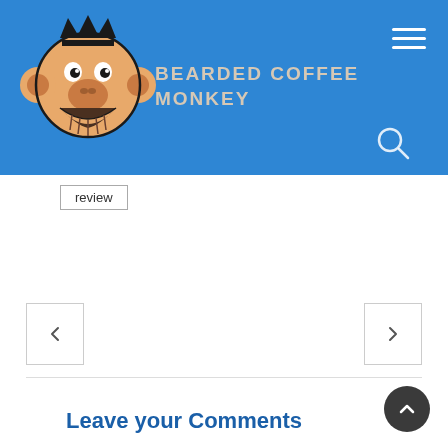[Figure (logo): Bearded Coffee Monkey website header with blue background, monkey logo (cartoon monkey face with beard and crown), site title 'BEARDED COFFEE MONKEY', hamburger menu icon, and search icon]
review
[Figure (other): Left navigation arrow button (chevron pointing left) inside a bordered square]
[Figure (other): Right navigation arrow button (chevron pointing right) inside a bordered square]
Leave your Comments